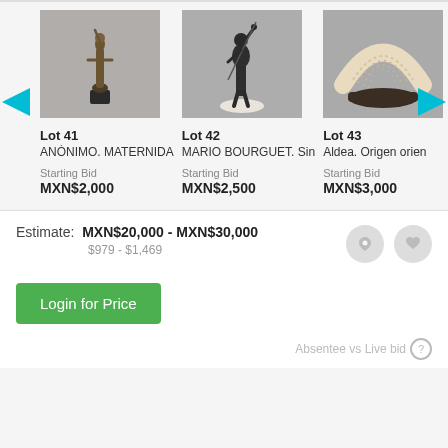[Figure (photo): Lot 41: Bronze figurine of a standing female form on a black base (ANÓNIMO. MATERNIDA...)]
Lot 41
ANÓNIMO. MATERNIDA
Starting Bid
MXN$2,000
[Figure (photo): Lot 42: Dark bronze sculpture of a warrior figure with spear on white base (MARIO BOURGUET. Sin...)]
Lot 42
MARIO BOURGUET. Sin
Starting Bid
MXN$2,500
[Figure (photo): Lot 43: Ornate ivory or bone fan-shaped decorative piece on dark stand (Aldea. Origen orien...)]
Lot 43
Aldea. Origen orien
Starting Bid
MXN$3,000
Estimate: MXN$20,000 - MXN$30,000
$979 - $1,469
Login for Price
Absentee vs Live bid ?